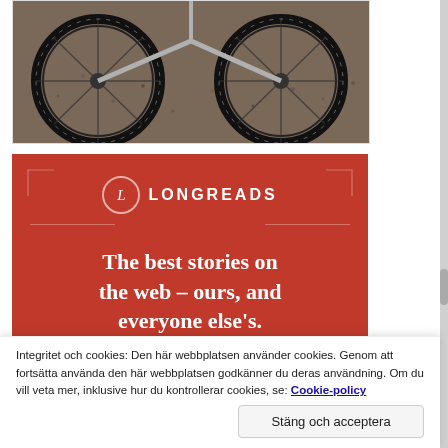[Figure (photo): Partial photo of bicycle wheels and frame on gravel/dirt ground, cropped at top]
[Figure (infographic): Longreads advertisement banner on red background. Logo with letter L in circle, text 'LONGREADS'. Headline: 'The best stories on the web – ours, and everyone else's.' Button: 'Start reading']
Integritet och cookies: Den här webbplatsen använder cookies. Genom att fortsätta använda den här webbplatsen godkänner du deras användning. Om du vill veta mer, inklusive hur du kontrollerar cookies, se: Cookie-policy
Stäng och acceptera